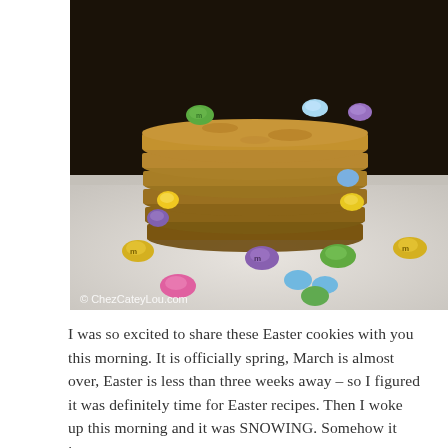[Figure (photo): A stack of Easter M&M cookies with pastel colored M&Ms embedded in them, surrounded by scattered pastel M&M candies on a white surface. Copyright watermark reads: © ChezCateyLou.com]
I was so excited to share these Easter cookies with you this morning. It is officially spring, March is almost over, Easter is less than three weeks away – so I figured it was definitely time for Easter recipes. Then I woke up this morning and it was SNOWING. Somehow it just